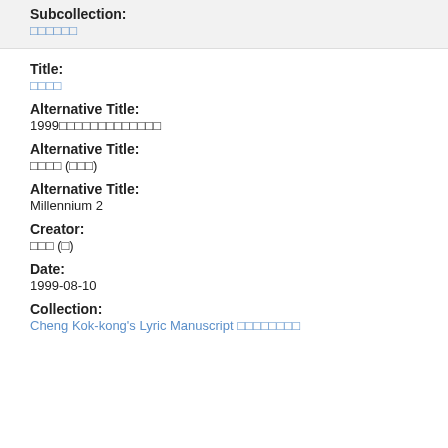Subcollection:
㊙㊙㊙㊙㊙㊙
Title:
㊙㊙㊙㊙
Alternative Title:
1999㊙㊙㊙㊙㊙㊙㊙㊙㊙㊙㊙㊙㊙
Alternative Title:
㊙㊙㊙㊙ (㊙㊙㊙)
Alternative Title:
Millennium 2
Creator:
㊙㊙㊙ (㊙)
Date:
1999-08-10
Collection:
Cheng Kok-kong's Lyric Manuscript ㊙㊙㊙㊙㊙㊙㊙㊙